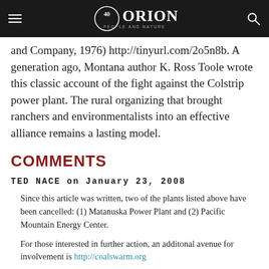ORION — 40 years People and Nature
and Company, 1976) http://tinyurl.com/2o5n8b. A generation ago, Montana author K. Ross Toole wrote this classic account of the fight against the Colstrip power plant. The rural organizing that brought ranchers and environmentalists into an effective alliance remains a lasting model.
COMMENTS
TED NACE on January 23, 2008
Since this article was written, two of the plants listed above have been cancelled: (1) Matanuska Power Plant and (2) Pacific Mountain Energy Center.
For those interested in further action, an additonal avenue for involvement is http://coalswarm.org
EDWIN LAINHART on January 24, 2008